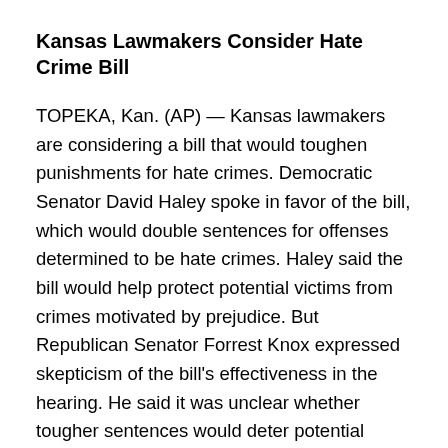Kansas Lawmakers Consider Hate Crime Bill
TOPEKA, Kan. (AP) — Kansas lawmakers are considering a bill that would toughen punishments for hate crimes. Democratic Senator David Haley spoke in favor of the bill, which would double sentences for offenses determined to be hate crimes. Haley said the bill would help protect potential victims from crimes motivated by prejudice. But Republican Senator Forrest Knox expressed skepticism of the bill's effectiveness in the hearing. He said it was unclear whether tougher sentences would deter potential criminals. Knox also said it would be difficult to prove that those accused were motivated by prejudice. Currently there is no Kansas statute that requires